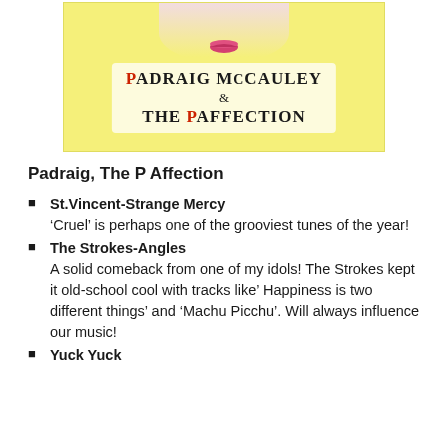[Figure (illustration): Album cover for Padraig McCauley & The P Affection showing a face with pink lips on a yellow background with the band name text in a white rounded box.]
Padraig, The P Affection
St.Vincent-Strange Mercy 'Cruel' is perhaps one of the grooviest tunes of the year!
The Strokes-Angles A solid comeback from one of my idols! The Strokes kept it old-school cool with tracks like' Happiness is two different things' and 'Machu Picchu'. Will always influence our music!
Yuck Yuck